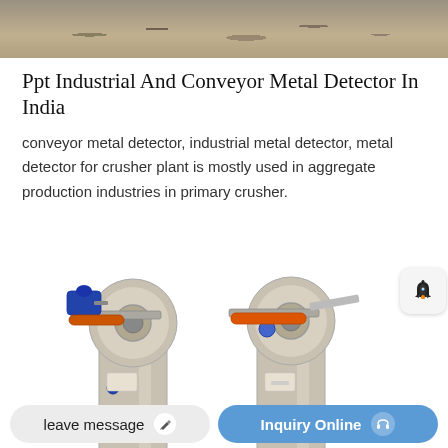[Figure (photo): Top portion of a rocky/gravel terrain photo, cropped at the top of the page]
Ppt Industrial And Conveyor Metal Detector In India
conveyor metal detector, industrial metal detector, metal detector for crusher plant is mostly used in aggregate production industries in primary crusher.
[Figure (photo): Two industrial bucket elevator / conveyor machines side by side, gray metal bodies with orange and blue motor components at the top, on white background]
leave message
Inquiry Online